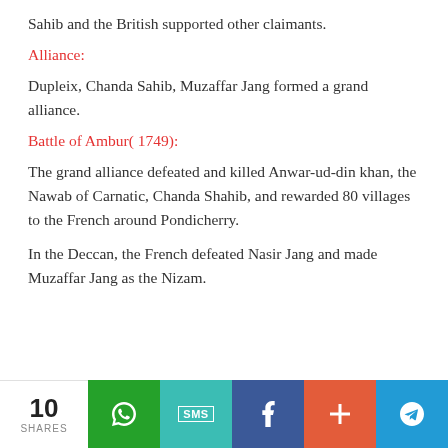Sahib and the British supported other claimants.
Alliance:
Dupleix, Chanda Sahib, Muzaffar Jang formed a grand alliance.
Battle of Ambur( 1749):
The grand alliance defeated and killed Anwar-ud-din khan, the Nawab of Carnatic, Chanda Shahib, and rewarded 80 villages to the French around Pondicherry.
In the Deccan, the French defeated Nasir Jang and made Muzaffar Jang as the Nizam.
10 SHARES | WhatsApp | SMS | Facebook | + | Telegram